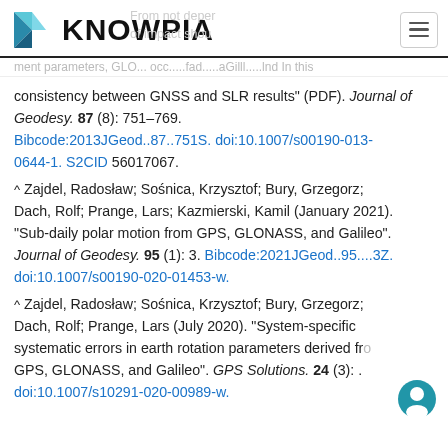KNOWPIA
consistency between GNSS and SLR results" (PDF). Journal of Geodesy. 87 (8): 751–769. Bibcode:2013JGeod..87..751S. doi:10.1007/s00190-013-0644-1. S2CID 56017067.
^ Zajdel, Radosław; Sośnica, Krzysztof; Bury, Grzegorz; Dach, Rolf; Prange, Lars; Kazmierski, Kamil (January 2021). "Sub-daily polar motion from GPS, GLONASS, and Galileo". Journal of Geodesy. 95 (1): 3. Bibcode:2021JGeod..95....3Z. doi:10.1007/s00190-020-01453-w.
^ Zajdel, Radosław; Sośnica, Krzysztof; Bury, Grzegorz; Dach, Rolf; Prange, Lars (July 2020). "System-specific systematic errors in earth rotation parameters derived from GPS, GLONASS, and Galileo". GPS Solutions. 24 (3): . doi:10.1007/s10291-020-00989-w.